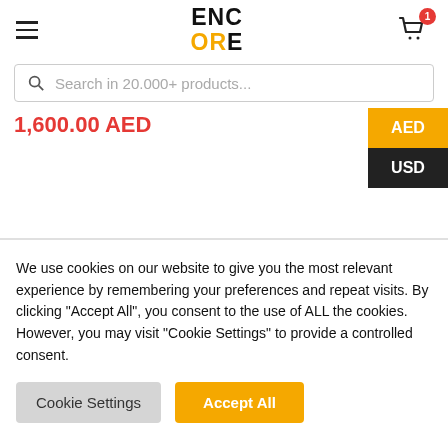[Figure (logo): ENCORE logo with ENC in black and ORE in black, with stylized yellow letters]
Search in 20.000+ products...
1,600.00 AED
AED
USD
We use cookies on our website to give you the most relevant experience by remembering your preferences and repeat visits. By clicking "Accept All", you consent to the use of ALL the cookies. However, you may visit "Cookie Settings" to provide a controlled consent.
Cookie Settings
Accept All